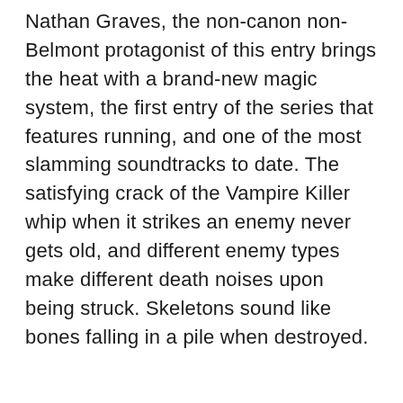Nathan Graves, the non-canon non-Belmont protagonist of this entry brings the heat with a brand-new magic system, the first entry of the series that features running, and one of the most slamming soundtracks to date. The satisfying crack of the Vampire Killer whip when it strikes an enemy never gets old, and different enemy types make different death noises upon being struck. Skeletons sound like bones falling in a pile when destroyed.